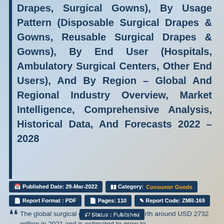Drapes, Surgical Gowns), By Usage Pattern (Disposable Surgical Drapes & Gowns, Reusable Surgical Drapes & Gowns), By End User (Hospitals, Ambulatory Surgical Centers, Other End Users), And By Region – Global And Regional Industry Overview, Market Intelligence, Comprehensive Analysis, Historical Data, And Forecasts 2022 – 2028
Published Date: 29-Mar-2022 | Category: Consumer Goods | Report Format: PDF | Pages: 110 | Report Code: ZMR-169 | Status: Published
The global surgical gowns market was worth around USD 2732 million in 2021 and is estimated to grow to